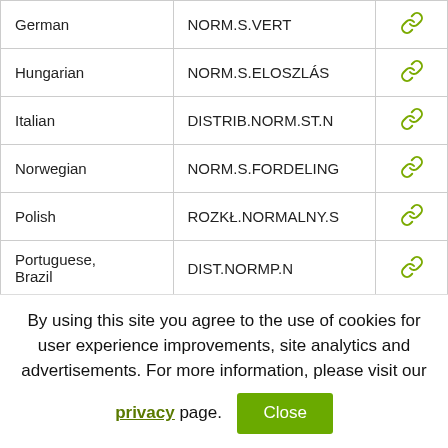| Language | Function |  |
| --- | --- | --- |
| German | NORM.S.VERT | 🔗 |
| Hungarian | NORM.S.ELOSZLÁS | 🔗 |
| Italian | DISTRIB.NORM.ST.N | 🔗 |
| Norwegian | NORM.S.FORDELING | 🔗 |
| Polish | ROZKŁ.NORMALNY.S | 🔗 |
| Portuguese, Brazil | DIST.NORMP.N | 🔗 |
| Portuguese, Portugal | DIST.S.NORM | 🔗 |
| Russian | НОРМ.СТ.РАСП | 🔗 |
| Spanish | DISTR.NORM.ESTAND.N | 🔗 |
By using this site you agree to the use of cookies for user experience improvements, site analytics and advertisements. For more information, please visit our privacy page. Close